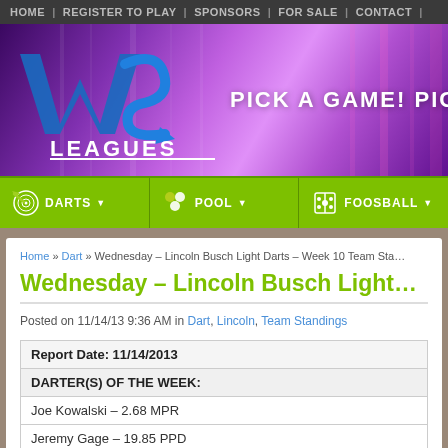HOME | REGISTER TO PLAY | SPONSORS | FOR SALE | CONTACT |
[Figure (logo): WVS Leagues logo with tagline PICK A GAME! on purple gradient banner background]
[Figure (infographic): Green navigation bar with DARTS, POOL, and FOOSBALL options with dropdown arrows and sport icons]
Home » Dart » Wednesday – Lincoln Busch Light Darts – Week 10 Team Sta…
Wednesday – Lincoln Busch Light…
Posted on 11/14/13 9:36 AM in Dart, Lincoln, Team Standings
| Report Date: 11/14/2013 |
| DARTER(S) OF THE WEEK: |
| Joe Kowalski – 2.68 MPR |
| Jeremy Gage – 19.85 PPD |